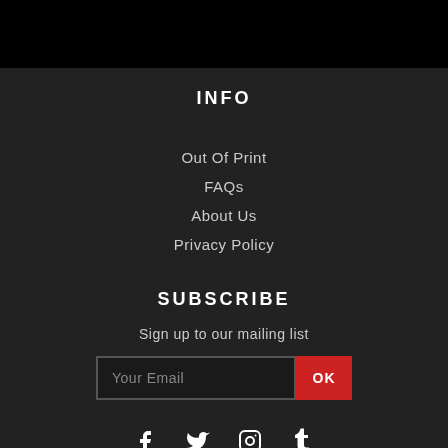INFO
Out Of Print
FAQs
About Us
Privacy Policy
SUBSCRIBE
Sign up to our mailing list
[Figure (other): Email subscription form with text input field labeled 'Your Email' and a red OK button]
[Figure (other): Social media icons row: Facebook, Twitter, Instagram, Tumblr]